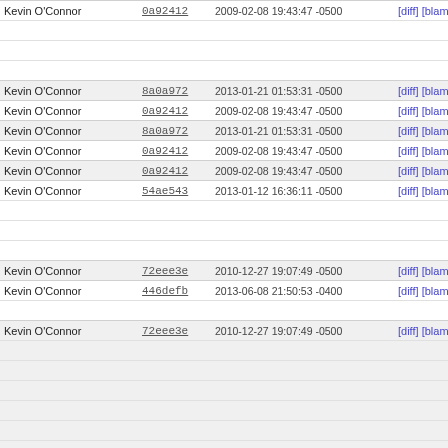| Author | Commit | Date | Links | Line |
| --- | --- | --- | --- | --- |
| Kevin O'Connor | 0a92412 | 2009-02-08 19:43:47 -0500 | [diff] [blame] | 532 |
|  |  |  |  | 533 |
|  |  |  |  | 534 |
|  |  |  |  | 535 |
| Kevin O'Connor | 8a0a972 | 2013-01-21 01:53:31 -0500 | [diff] [blame] | 536 |
| Kevin O'Connor | 0a92412 | 2009-02-08 19:43:47 -0500 | [diff] [blame] | 537 |
| Kevin O'Connor | 8a0a972 | 2013-01-21 01:53:31 -0500 | [diff] [blame] | 538 |
| Kevin O'Connor | 0a92412 | 2009-02-08 19:43:47 -0500 | [diff] [blame] | 539 |
| Kevin O'Connor | 0a92412 | 2009-02-08 19:43:47 -0500 | [diff] [blame] | 540 |
| Kevin O'Connor | 54ae543 | 2013-01-12 16:36:11 -0500 | [diff] [blame] | 541 |
|  |  |  |  | 542 |
|  |  |  |  | 543 |
|  |  |  |  | 544 |
| Kevin O'Connor | 72eee3e | 2010-12-27 19:07:49 -0500 | [diff] [blame] | 545 |
| Kevin O'Connor | 446defb | 2013-06-08 21:50:53 -0400 | [diff] [blame] | 546 |
|  |  |  |  | 547 |
| Kevin O'Connor | 72eee3e | 2010-12-27 19:07:49 -0500 | [diff] [blame] | 548 |
|  |  |  |  | 549 |
|  |  |  |  | 550 |
|  |  |  |  | 551 |
|  |  |  |  | 552 |
|  |  |  |  | 553 |
|  |  |  |  | 554 |
|  |  |  |  | 555 |
|  |  |  |  | 556 |
|  |  |  |  | 557 |
|  |  |  |  | 558 |